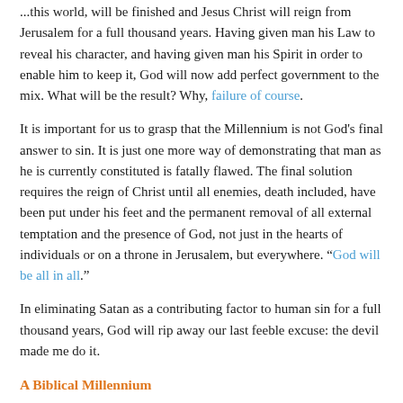...this world, will be finished and Jesus Christ will reign from Jerusalem for a full thousand years. Having given man his Law to reveal his character, and having given man his Spirit in order to enable him to keep it, God will now add perfect government to the mix. What will be the result? Why, failure of course.
It is important for us to grasp that the Millennium is not God's final answer to sin. It is just one more way of demonstrating that man as he is currently constituted is fatally flawed. The final solution requires the reign of Christ until all enemies, death included, have been put under his feet and the permanent removal of all external temptation and the presence of God, not just in the hearts of individuals or on a throne in Jerusalem, but everywhere. “God will be all in all.”
In eliminating Satan as a contributing factor to human sin for a full thousand years, God will rip away our last feeble excuse: the devil made me do it.
A Biblical Millennium
If we believe the Old Testament prophets, the millennial reign of Christ is a period in which creation rejoices and flourishes, but...